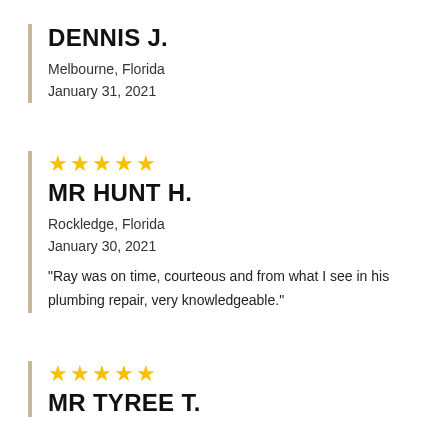DENNIS J.
Melbourne, Florida
January 31, 2021
[Figure (other): 5 gold stars rating]
MR HUNT H.
Rockledge, Florida
January 30, 2021
"Ray was on time, courteous and from what I see in his plumbing repair, very knowledgeable."
[Figure (other): 5 gold stars rating]
MR TYREE T.